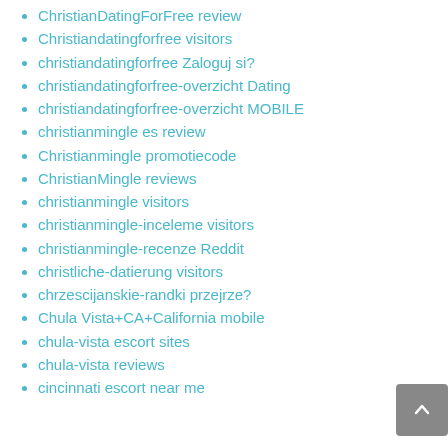ChristianDatingForFree review
Christiandatingforfree visitors
christiandatingforfree Zaloguj si?
christiandatingforfree-overzicht Dating
christiandatingforfree-overzicht MOBILE
christianmingle es review
Christianmingle promotiecode
ChristianMingle reviews
christianmingle visitors
christianmingle-inceleme visitors
christianmingle-recenze Reddit
christliche-datierung visitors
chrzescijanskie-randki przejrze?
Chula Vista+CA+California mobile
chula-vista escort sites
chula-vista reviews
cincinnati escort near me